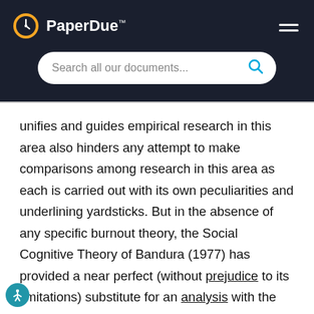PaperDue™
unifies and guides empirical research in this area also hinders any attempt to make comparisons among research in this area as each is carried out with its own peculiarities and underlining yardsticks. But in the absence of any specific burnout theory, the Social Cognitive Theory of Bandura (1977) has provided a near perfect (without prejudice to its limitations) substitute for an analysis with the teaching profession in